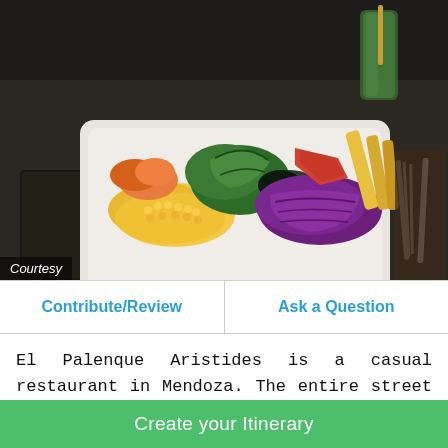[Figure (photo): A colorful vegetable salad bowl on a white square plate on a dark wooden table, with corn, red cabbage, green leaves, tomatoes, carrots, and yellow vegetables. There is a green drink and silverware in the background.]
Courtesy
Contribute/Review
Ask a Question
El Palenque Aristides is a casual restaurant in Mendoza. The entire street is lined with great places to eat and drink, but this restaurant stands out because of the food. People enjoy the bar
Create your Itinerary